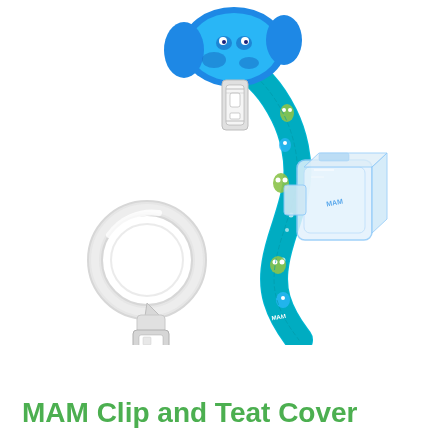[Figure (photo): MAM Clip and Teat Cover product photo showing a blue pacifier clip with a teal/blue patterned strap decorated with cartoon monster characters, attached to a clear plastic teat cover/cap, with a separate clear plastic ring clip on the left side.]
MAM Clip and Teat Cover